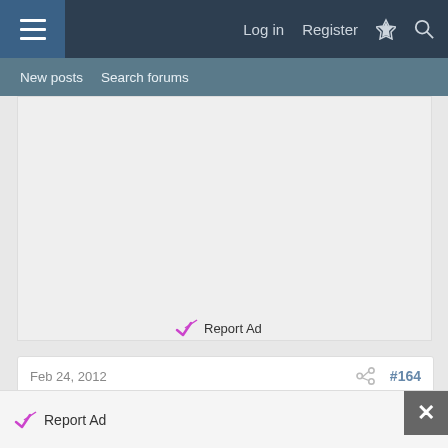Log in  Register
New posts  Search forums
[Figure (other): Advertisement placeholder area with light gray background]
Report Ad
Feb 24, 2012  #164
GrizzlyV6
Well-Known Member
Report Ad